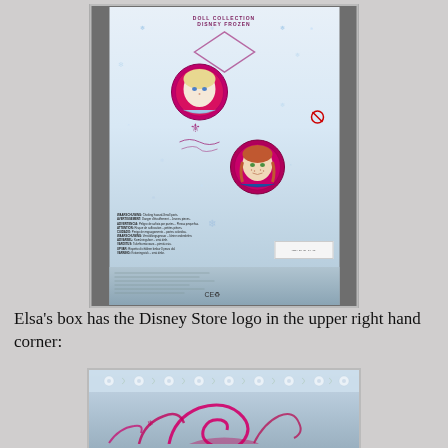[Figure (photo): Back of a Disney Frozen doll box showing Elsa and Anna character medallion portraits with pink ornate frames, snowflake decorations on a light blue background, warning text, and barcode. Bottom panel shows the box base.]
Elsa's box has the Disney Store logo in the upper right hand corner:
[Figure (photo): Close-up of the top portion of the Disney Frozen Elsa doll box showing a light blue and white floral border pattern at top and pink/magenta swirl decorative elements below, characteristic of the Disney Store packaging.]